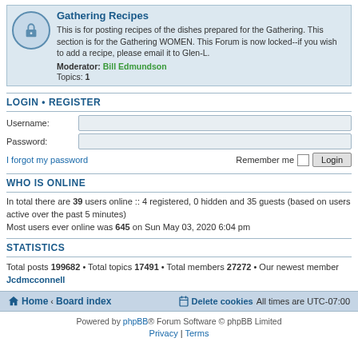Gathering Recipes
This is for posting recipes of the dishes prepared for the Gathering. This section is for the Gathering WOMEN. This Forum is now locked--if you wish to add a recipe, please email it to Glen-L. Moderator: Bill Edmundson Topics: 1
LOGIN • REGISTER
Username:
Password:
I forgot my password   Remember me  Login
WHO IS ONLINE
In total there are 39 users online :: 4 registered, 0 hidden and 35 guests (based on users active over the past 5 minutes)
Most users ever online was 645 on Sun May 03, 2020 6:04 pm
STATISTICS
Total posts 199682 • Total topics 17491 • Total members 27272 • Our newest member Jcdmcconnell
Home · Board index   Delete cookies   All times are UTC-07:00
Powered by phpBB® Forum Software © phpBB Limited
Privacy | Terms